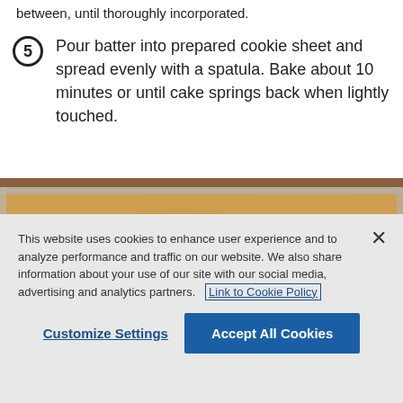between, until thoroughly incorporated.
5 Pour batter into prepared cookie sheet and spread evenly with a spatula. Bake about 10 minutes or until cake springs back when lightly touched.
[Figure (photo): Close-up photo of baked cake in a metal baking sheet on a wooden surface, showing golden-brown sponge cake texture.]
This website uses cookies to enhance user experience and to analyze performance and traffic on our website. We also share information about your use of our site with our social media, advertising and analytics partners. Link to Cookie Policy
Customize Settings   Accept All Cookies